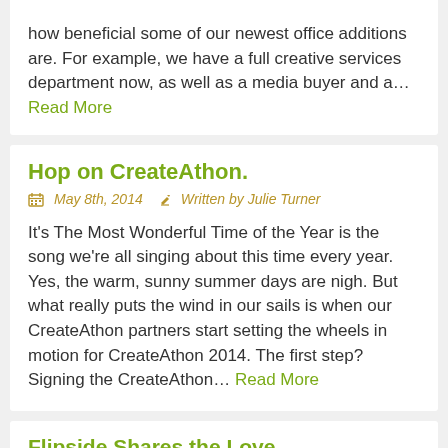how beneficial some of our newest office additions are. For example, we have a full creative services department now, as well as a media buyer and a… Read More
Hop on CreateAthon.
May 8th, 2014   Written by Julie Turner
It's The Most Wonderful Time of the Year is the song we're all singing about this time every year. Yes, the warm, sunny summer days are nigh. But what really puts the wind in our sails is when our CreateAthon partners start setting the wheels in motion for CreateAthon 2014. The first step? Signing the CreateAthon… Read More
Flipside Shares the Love
April 3rd, 2014   Written by Alexandra Frazier
Once upon a time in a faraway land (okay, so Canada isn't